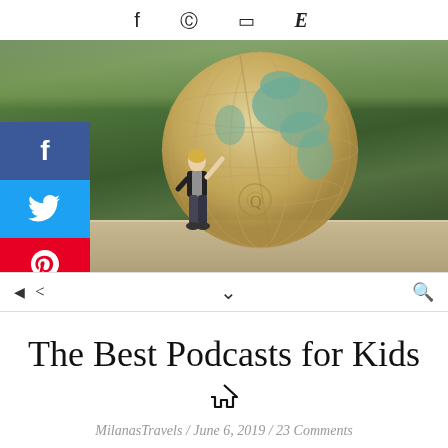f  ⊕  ☰  E
[Figure (photo): A young child reaching up toward a large antique globe, standing on a road with green trees blurred in the background. Social media share buttons (Facebook, Twitter, Pinterest) are overlaid on the left side.]
The Best Podcasts for Kids
MilanasTravels / June 6, 2019 / 23 Comments